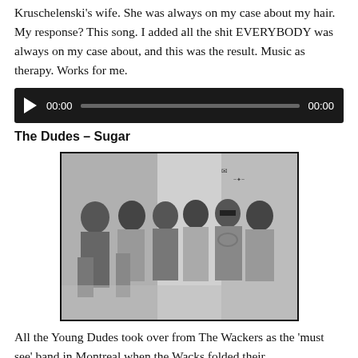Kruschelenski's wife. She was always on my case about my hair. My response? This song. I added all the shit EVERYBODY was always on my case about, and this was the result. Music as therapy. Works for me.
[Figure (screenshot): Audio player widget with dark background, play button, time display showing 00:00, progress bar, and end time 00:00]
The Dudes – Sugar
[Figure (photo): Black and white photograph of a group of seven people (band members) posing together, taken in what appears to be the 1970s]
All the Young Dudes took over from The Wackers as the 'must see' band in Montreal when the Wacks folded their